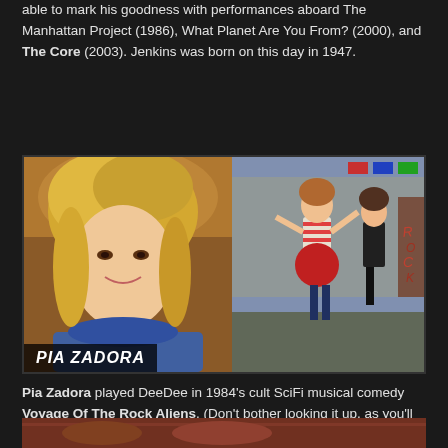able to mark his goodness with performances aboard The Manhattan Project (1986), What Planet Are You From? (2000), and The Core (2003). Jenkins was born on this day in 1947.
[Figure (photo): Two-panel image. Left panel: portrait photo of Pia Zadora, a blonde woman with big 80s hair smiling at camera, wearing a floral/sequined top. Right panel: dance scene showing women dancing outdoors in 80s attire (striped crop top, red skirt, black outfit). Name badge 'PIA ZADORA' in white italic bold text on black background at bottom left.]
Pia Zadora played DeeDee in 1984's cult SciFi musical comedy Voyage Of The Rock Aliens. (Don't bother looking it up, as you'll be disappointed.) Zadora was born on this day in 1954.